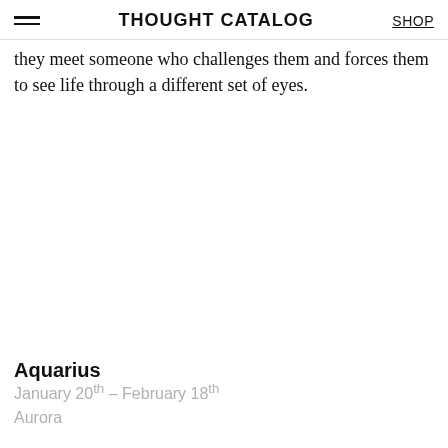THOUGHT CATALOG | SHOP
they meet someone who challenges them and forces them to see life through a different set of eyes.
Aquarius
January 20th – February 18th
Aurora